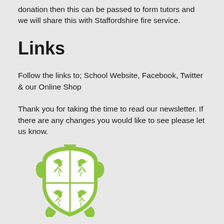donation then this can be passed to form tutors and we will share this with Staffordshire fire service.
Links
Follow the links to; School Website, Facebook, Twitter & our Online Shop
Thank you for taking the time to read our newsletter. If there are any changes you would like to see please let us know.
[Figure (logo): Green shield/crest school logo with heraldic lions and cross design]